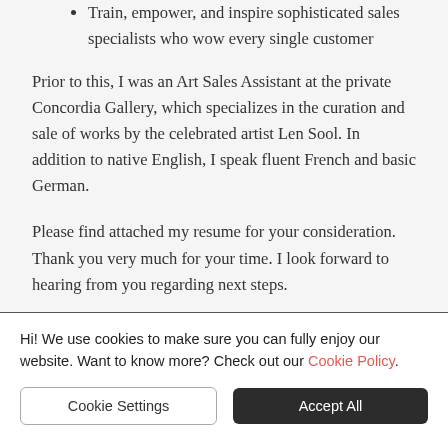Train, empower, and inspire sophisticated sales specialists who wow every single customer
Prior to this, I was an Art Sales Assistant at the private Concordia Gallery, which specializes in the curation and sale of works by the celebrated artist Len Sool. In addition to native English, I speak fluent French and basic German.
Please find attached my resume for your consideration. Thank you very much for your time. I look forward to hearing from you regarding next steps.
Hi! We use cookies to make sure you can fully enjoy our website. Want to know more? Check out our Cookie Policy.